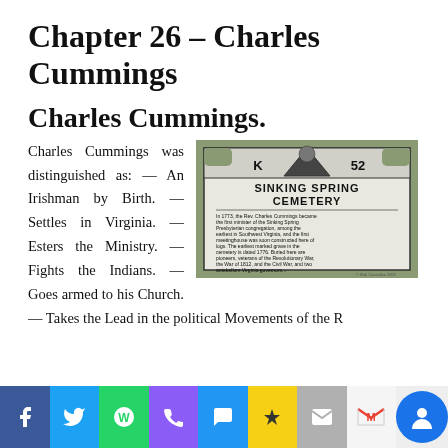Chapter 26 – Charles Cummings
Charles Cummings.
[Figure (photo): Historical marker sign for Sinking Spring Cemetery, K 52, describing Rev. Charles Cummings as first minister of the Sinking Spring Presbyterian congregation in Southwest Virginia.]
Charles Cummings was distinguished as: — An Irishman by Birth. — Settles in Virginia. — Esters the Ministry. — Fights the Indians. — Goes armed to his Church. — Takes the Lead in the political Movements of the Revolution. — Cherishes the American character...